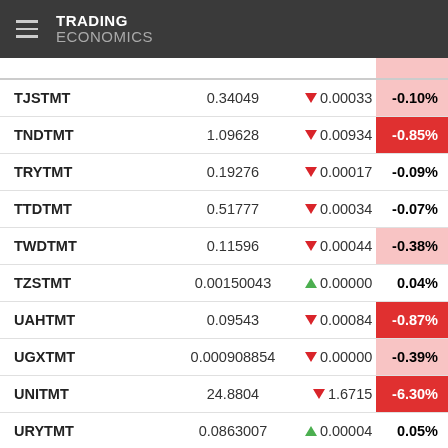TRADING ECONOMICS
| Name | Value | Change | Change% |
| --- | --- | --- | --- |
| TJSTMT | 0.34049 | ▼ 0.00033 | -0.10% |
| TNDTMT | 1.09628 | ▼ 0.00934 | -0.85% |
| TRYTMT | 0.19276 | ▼ 0.00017 | -0.09% |
| TTDTMT | 0.51777 | ▼ 0.00034 | -0.07% |
| TWDTMT | 0.11596 | ▼ 0.00044 | -0.38% |
| TZSTMT | 0.00150043 | ▲ 0.00000 | 0.04% |
| UAHTMT | 0.09543 | ▼ 0.00084 | -0.87% |
| UGXTMT | 0.000908854 | ▼ 0.00000 | -0.39% |
| UNITMT | 24.8804 | ▼ 1.6715 | -6.30% |
| URYTMT | 0.0863007 | ▲ 0.00004 | 0.05% |